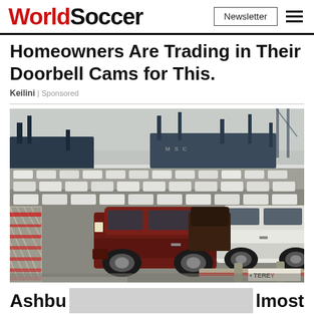WorldSoccer
Homeowners Are Trading in Their Doorbell Cams for This.
Keilini | Sponsored
[Figure (photo): A large port/dock area filled with hundreds of Toyota FJ Cruiser SUVs in various colors (white, dark red/maroon), with cargo ships and cranes visible in the background. A chain-link fence with red stripes is visible in the foreground, and a partial sign reading 'TEREY' is visible at lower right.]
Ashbu ... lmost